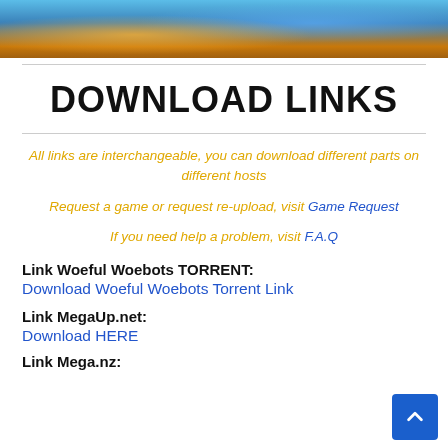[Figure (photo): Game screenshot showing animated characters in a colorful sci-fi environment]
DOWNLOAD LINKS
All links are interchangeable, you can download different parts on different hosts
Request a game or request re-upload, visit Game Request
If you need help a problem, visit F.A.Q
Link Woeful Woebots TORRENT:
Download Woeful Woebots Torrent Link
Link MegaUp.net:
Download HERE
Link Mega.nz: